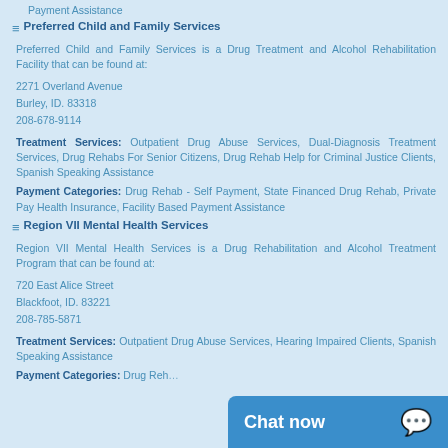Payment Assistance
Preferred Child and Family Services
Preferred Child and Family Services is a Drug Treatment and Alcohol Rehabilitation Facility that can be found at:
2271 Overland Avenue
Burley, ID. 83318
208-678-9114
Treatment Services: Outpatient Drug Abuse Services, Dual-Diagnosis Treatment Services, Drug Rehabs For Senior Citizens, Drug Rehab Help for Criminal Justice Clients, Spanish Speaking Assistance
Payment Categories: Drug Rehab - Self Payment, State Financed Drug Rehab, Private Pay Health Insurance, Facility Based Payment Assistance
Region VII Mental Health Services
Region VII Mental Health Services is a Drug Rehabilitation and Alcohol Treatment Program that can be found at:
720 East Alice Street
Blackfoot, ID. 83221
208-785-5871
Treatment Services: Outpatient Drug Abuse Services, Hearing Impaired Clients, Spanish Speaking Assistance
Payment Categories: Drug Reh...